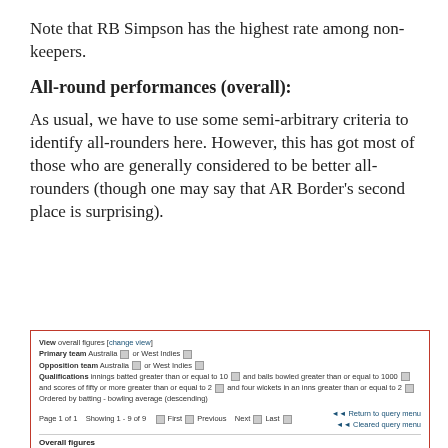Note that RB Simpson has the highest rate among non-keepers.
All-round performances (overall):
As usual, we have to use some semi-arbitrary criteria to identify all-rounders here. However, this has got most of those who are generally considered to be better all-rounders (though one may say that AR Border's second place is surprising).
| Player | Span | Mat | Runs | HS | Bat Av | 100 | Wkts | BBI | Bowl Av | 5 | Ct | St | Ave Diff |
| --- | --- | --- | --- | --- | --- | --- | --- | --- | --- | --- | --- | --- | --- |